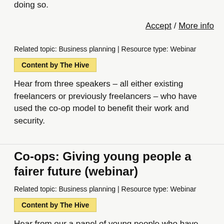doing so.
Accept / More info
Related topic: Business planning | Resource type: Webinar
Content by The Hive
Hear from three speakers – all either existing freelancers or previously freelancers – who have used the co-op model to benefit their work and security.
Co-ops: Giving young people a fairer future (webinar)
Related topic: Business planning | Resource type: Webinar
Content by The Hive
Hear from our a panel of young people who have been involved in or founded a range of co-ops.